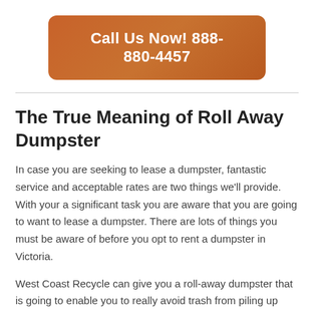Call Us Now! 888-880-4457
The True Meaning of Roll Away Dumpster
In case you are seeking to lease a dumpster, fantastic service and acceptable rates are two things we'll provide. With your a significant task you are aware that you are going to want to lease a dumpster. There are lots of things you must be aware of before you opt to rent a dumpster in Victoria.
West Coast Recycle can give you a roll-away dumpster that is going to enable you to really avoid trash from piling up throughout your lawn. The very first thing you should do is analyze how much waste you've got and what you will be removing. Occasionally it's